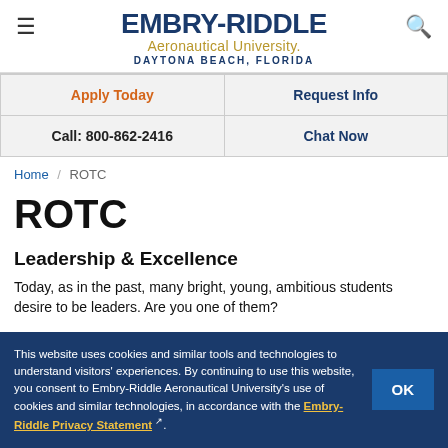EMBRY-RIDDLE Aeronautical University. DAYTONA BEACH, FLORIDA
| Apply Today | Request Info |
| --- | --- |
| Call: 800-862-2416 | Chat Now |
Home / ROTC
ROTC
Leadership & Excellence
Today, as in the past, many bright, young, ambitious students desire to be leaders. Are you one of them?
This website uses cookies and similar tools and technologies to understand visitors' experiences. By continuing to use this website, you consent to Embry-Riddle Aeronautical University's use of cookies and similar technologies, in accordance with the Embry-Riddle Privacy Statement.